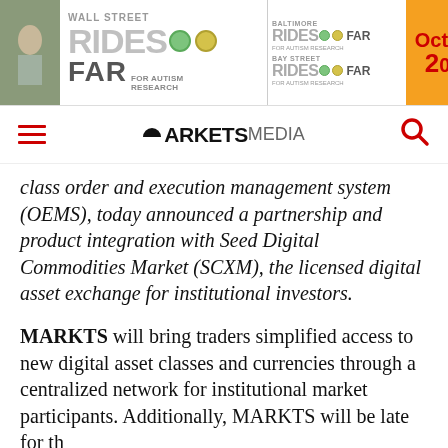[Figure (infographic): Banner advertisement for 'Wall Street Rides FAR for Autism Research', 'Baltimore Rides FAR', 'Bay Street Rides FAR' charity cycling events, with an orange date badge showing 'Octo 2[0...]']
MARKETS MEDIA navigation bar with hamburger menu and search icon
class order and execution management system (OEMS), today announced a partnership and product integration with Seed Digital Commodities Market (SCXM), the licensed digital asset exchange for institutional investors.
MARKTS will bring traders simplified access to new digital asset classes and currencies through a centralized network for institutional market participants. Additionally, MARKTS will be late for the...